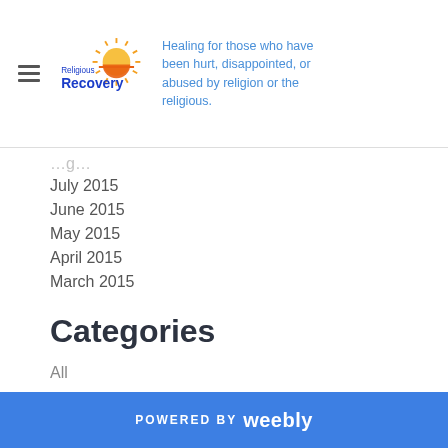Religious Recovery — Healing for those who have been hurt, disappointed, or abused by religion or the religious.
July 2015
June 2015
May 2015
April 2015
March 2015
Categories
All
RSS Feed
POWERED BY weebly